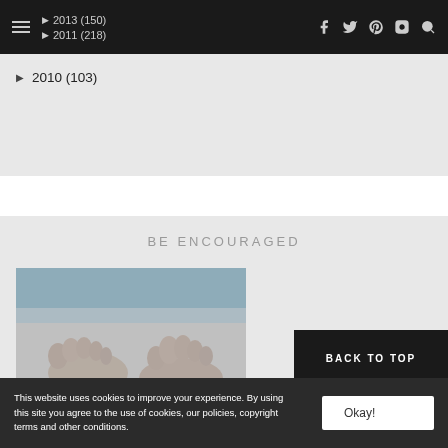2013 (150) | 2011 (218) | 2010 (103) — navigation with social icons
▶ 2013 (150)
▶ 2011 (218)
▶ 2010 (103)
BE ENCOURAGED
[Figure (photo): Black and white close-up photo of baby feet against a light blue sky background]
BACK TO TOP
This website uses cookies to improve your experience. By using this site you agree to the use of cookies, our policies, copyright terms and other conditions.
Okay!